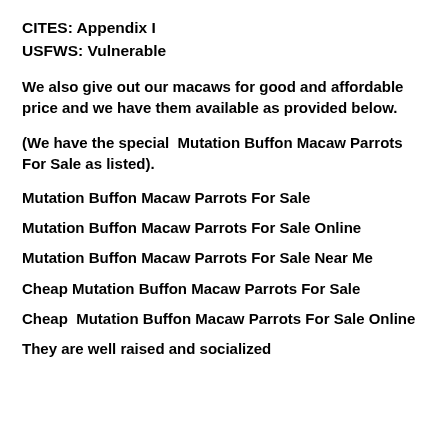CITES: Appendix I
USFWS: Vulnerable
We also give out our macaws for good and affordable price and we have them available as provided below.
(We have the special  Mutation Buffon Macaw Parrots For Sale as listed).
Mutation Buffon Macaw Parrots For Sale
Mutation Buffon Macaw Parrots For Sale Online
Mutation Buffon Macaw Parrots For Sale Near Me
Cheap Mutation Buffon Macaw Parrots For Sale
Cheap  Mutation Buffon Macaw Parrots For Sale Online
They are well raised and socialized